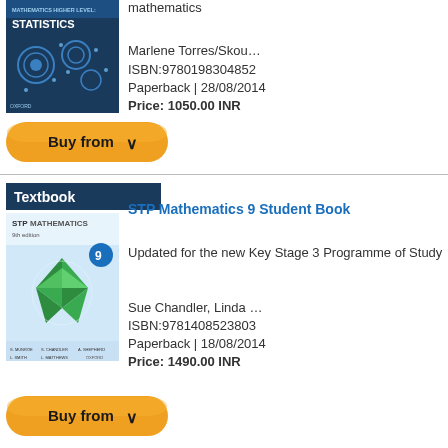[Figure (illustration): Mathematics Higher Level Statistics book cover with dark blue background and data visualization imagery]
mathematics
Marlene Torres/Skou…
ISBN:9780198304852
Paperback | 28/08/2014
Price: 1050.00 INR
[Figure (illustration): Buy from button with orange pill shape and dropdown chevron]
Textbook
[Figure (illustration): STP Mathematics 9 Student Book cover with green geometric design on light blue background]
STP Mathematics 9 Student Book
Updated for the new Key Stage 3 Programme of Study
Sue Chandler, Linda …
ISBN:9781408523803
Paperback | 18/08/2014
Price: 1490.00 INR
[Figure (illustration): Buy from button with orange pill shape and dropdown chevron]